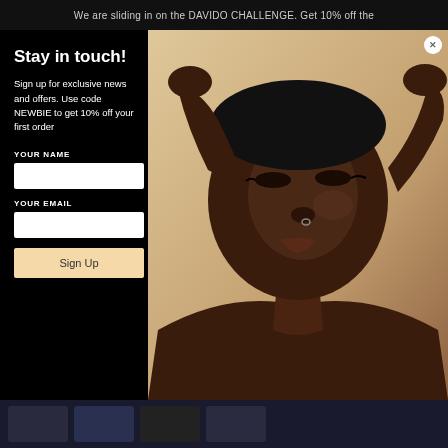We are sliding in on the DAVIDO CHALLENGE. Get 10% off the
[Figure (photo): Portrait of a Black woman with hands raised behind her head, wearing makeup with cat-eye liner and a nose ring, against a beige/tan background]
Stay in touch!
Sign up for exclusive news and offers. Use code NEWBIE to get 10% off your first order
YOUR NAME
YOUR EMAIL
Sign Up